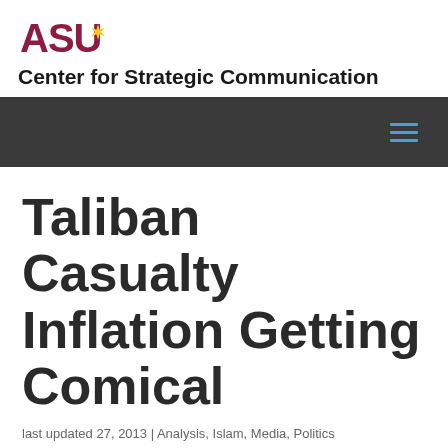ASU Center for Strategic Communication
[Figure (logo): ASU logo with maroon text and sun icon, followed by 'Center for Strategic Communication' in bold black]
Taliban Casualty Inflation Getting Comical
...last updated 27, 2013 | Analysis, Islam, Media, Politics...